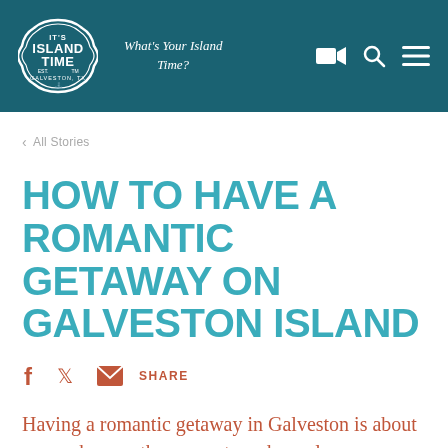[Figure (logo): It's Island Time Galveston TX badge logo — white outlined badge shape on teal background with text IT'S ISLAND TIME EST. GALVESTON, TX]
What's Your Island Time?
< All Stories
HOW TO HAVE A ROMANTIC GETAWAY ON GALVESTON ISLAND
f  ✓  ✉  SHARE
Having a romantic getaway in Galveston is about so much more than sunsets and couple massages.